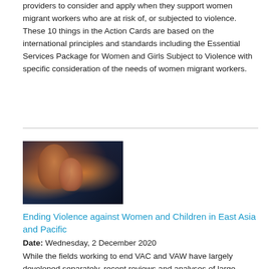These Action Cards provide practical actions for frontline service providers to consider and apply when they support women migrant workers who are at risk of, or subjected to violence. These 10 things in the Action Cards are based on the international principles and standards including the Essential Services Package for Women and Girls Subject to Violence with specific consideration of the needs of women migrant workers.
[Figure (photo): Photo of a woman and child, appearing to be mother and child in traditional dress, dark blue background with warm skin tones]
Ending Violence against Women and Children in East Asia and Pacific
Date: Wednesday, 2 December 2020
While the fields working to end VAC and VAW have largely developed separately, recent reviews and analyses of large datasets have identified multiple intersections between VAC and VAW including: co-occurrence, shared risk factors, similar underlying social norms, common consequences, intergenerational effects, and the period of adolescence as unique period of